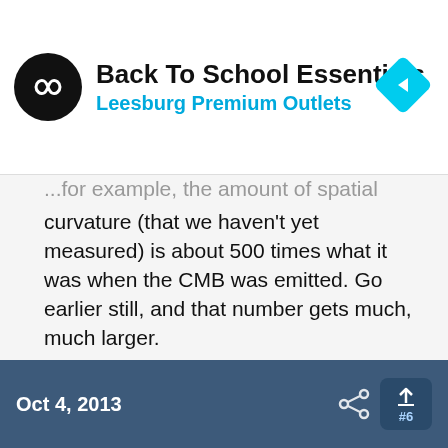[Figure (infographic): Advertisement banner: Back To School Essentials - Leesburg Premium Outlets, with circular logo and blue navigation diamond icon]
...for example, the amount of spatial curvature (that we haven't yet measured) is about 500 times what it was when the CMB was emitted. Go earlier still, and that number gets much, much larger.
If we were to just start a universe with random initial conditions, we would expect to start with a large curvature. Instead, our universe had to begin with a vanishingly-tiny curvature.
Oct 4, 2013  #6